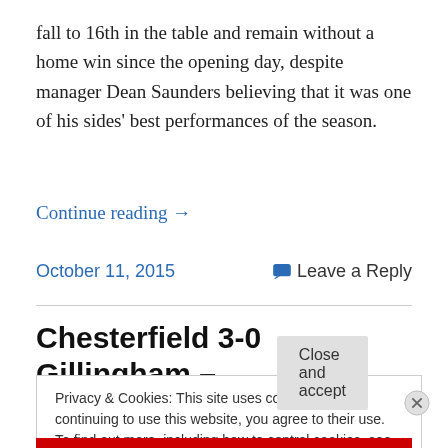fall to 16th in the table and remain without a home win since the opening day, despite manager Dean Saunders believing that it was one of his sides' best performances of the season.
Continue reading →
October 11, 2015
Leave a Reply
Chesterfield 3-0 Gillingham –
Privacy & Cookies: This site uses cookies. By continuing to use this website, you agree to their use.
To find out more, including how to control cookies, see here: Cookie Policy
Close and accept